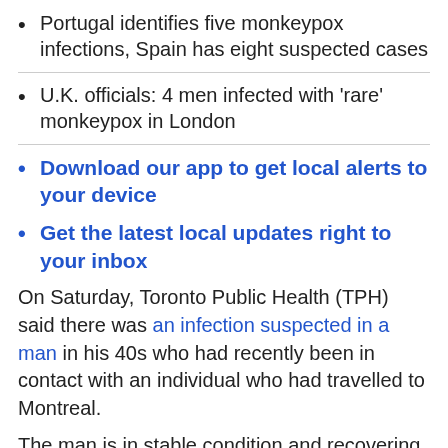Portugal identifies five monkeypox infections, Spain has eight suspected cases
U.K. officials: 4 men infected with 'rare' monkeypox in London
Download our app to get local alerts to your device
Get the latest local updates right to your inbox
On Saturday, Toronto Public Health (TPH) said there was an infection suspected in a man in his 40s who had recently been in contact with an individual who had travelled to Montreal.
The man is in stable condition and recovering in